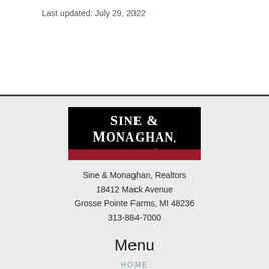Last updated: July 29, 2022
[Figure (logo): Sine & Monaghan Realtors logo — black background with white serif text reading SINE & MONAGHAN and REALTORS below, with a red bar at the bottom]
Sine & Monaghan, Realtors
18412 Mack Avenue
Grosse Pointe Farms, MI 48236
313-884-7000
Menu
HOME